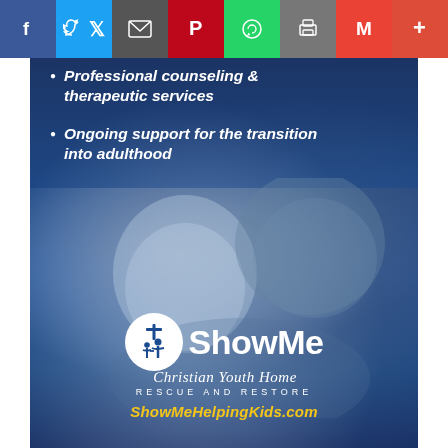[Figure (infographic): Social media share bar with buttons: Facebook (blue), Twitter (light blue), Email (dark gray), Pinterest (red), WhatsApp (green), Print (gray), Gmail (red), Plus/More (orange-red)]
[Figure (infographic): Show Me Christian Youth Home advertisement. Dark blue background with blue-tinted photo of an adult and young smiling child embracing. Contains bullet points listing services, Show Me logo with circle icon showing adult and child figures, organization name 'Show Me Christian Youth Home Rescue and Restore' and website ShowMeHelpingKids.com]
Professional counseling & therapeutic services
Ongoing support for the transition into adulthood
ShowMe
Christian Youth Home
RESCUE AND RESTORE
ShowMeHelpingKids.com